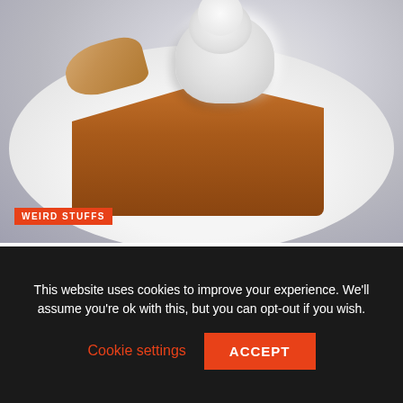[Figure (photo): A slice of pumpkin pie with whipped cream on a white plate, photographed from above at an angle. The pie has a golden-brown flaky crust and rich orange-brown filling.]
WEIRD STUFFS
New York Wants People To Show ID For This Pumpkin Pie Staple
This website uses cookies to improve your experience. We'll assume you're ok with this, but you can opt-out if you wish.
Cookie settings
ACCEPT